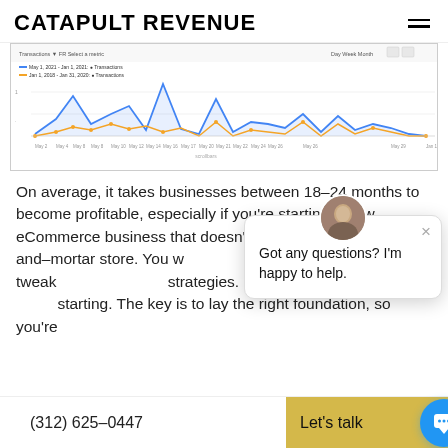CATAPULT REVENUE
[Figure (line-chart): Google Analytics line chart showing Transactions from May 1, 2021 - Jan 1, 2021 (blue) vs Jan 1, 2018 - Jan 31, 2020 (orange). Shows weekly transaction data with peaks and valleys across May dates through Jan 1.]
On average, it takes businesses between 18-24 months to become profitable, especially if you're starting a new eCommerce business that doesn't already have a brick-and-mortar store. You will need to learn from analytics and tweak your marketing strategies. Don't be too discouraged when starting. The key is to lay the right foundation, so you're
Got any questions? I'm happy to help.
(312) 625-0447  Let's talk